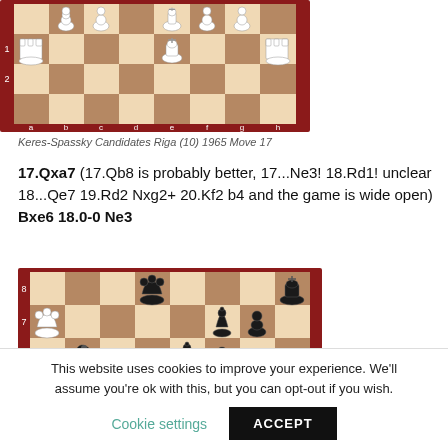[Figure (illustration): Chess board diagram showing position from Keres-Spassky Candidates Riga (10) 1965 Move 17, with white pieces including king on e1, rook on h1, pawns, and black pieces including king on e8, rook on a8, queen on d8.]
Keres-Spassky Candidates Riga (10) 1965 Move 17
17.Qxa7 (17.Qb8 is probably better, 17...Ne3! 18.Rd1! unclear 18...Qe7 19.Rd2 Nxg2+ 20.Kf2 b4 and the game is wide open) Bxe6 18.0-0 Ne3
[Figure (illustration): Chess board diagram showing position after move 18 with white queen on a7, black queen on d8, black bishop on f7, black knight on e3, black pawns, white pieces castled.]
This website uses cookies to improve your experience. We'll assume you're ok with this, but you can opt-out if you wish.
Cookie settings   ACCEPT